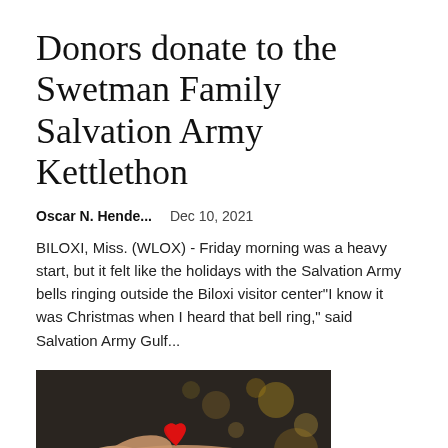Donors donate to the Swetman Family Salvation Army Kettlethon
Oscar N. Hende...    Dec 10, 2021
BILOXI, Miss. (WLOX) - Friday morning was a heavy start, but it felt like the holidays with the Salvation Army bells ringing outside the Biloxi visitor center"I know it was Christmas when I heard that bell ring," said Salvation Army Gulf...
[Figure (photo): Two hands exchanging a red heart, holiday background with bokeh lights, overlaid text reading 'The Gift of Life' in red bold font]